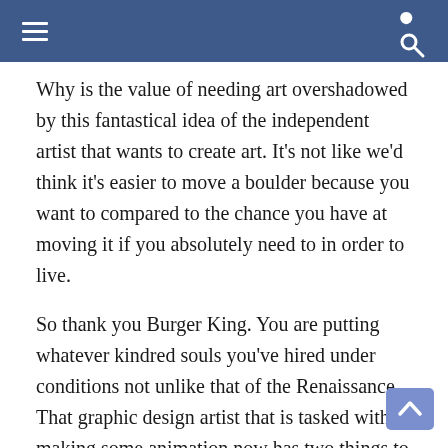navigation bar with hamburger menu and search icon
Why is the value of needing art overshadowed by this fantastical idea of the independent artist that wants to create art. It’s not like we’d think it’s easier to move a boulder because you want to compared to the chance you have at moving it if you absolutely need to in order to live.
So thank you Burger King. You are putting whatever kindred souls you’ve hired under conditions not unlike that of the Renaissance. That graphic design artist that is tasked with making some animation now has two things to consider when doing their work: 1. It has to be aesthetically pleasing. People have to like the commercial/whatever and 2. It has